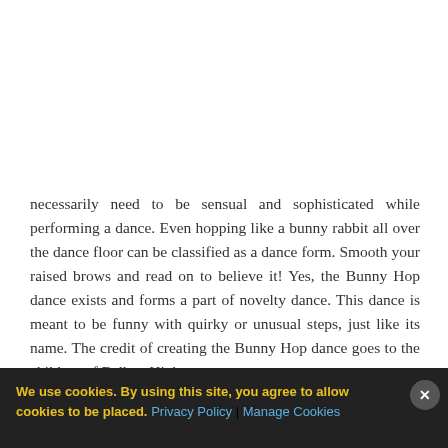necessarily need to be sensual and sophisticated while performing a dance. Even hopping like a bunny rabbit all over the dance floor can be classified as a dance form. Smooth your raised brows and read on to believe it! Yes, the Bunny Hop dance exists and forms a part of novelty dance. This dance is meant to be funny with quirky or unusual steps, just like its name. The credit of creating the Bunny Hop dance goes to the children of Balboa High
We use cookies. By using this site, you agree to allow cookies to be placed. Privacy Policy | Manage Cookies